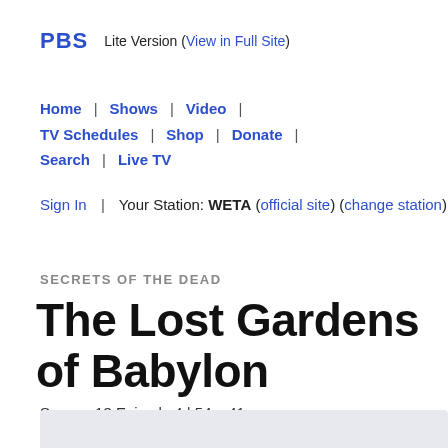PBS  Lite Version (View in Full Site)
Home | Shows | Video | TV Schedules | Shop | Donate | Search | Live TV
Sign In | Your Station: WETA (official site) (change station)
SECRETS OF THE DEAD
The Lost Gardens of Babylon
Season 13 Episode 4 | 54m 41s